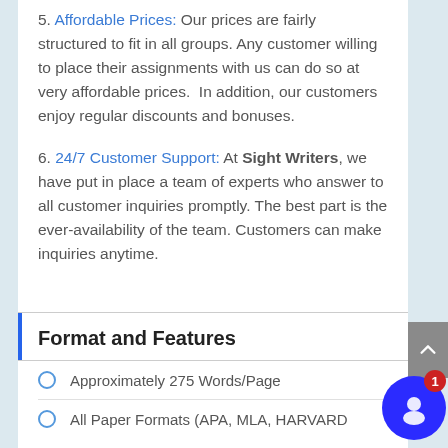5. Affordable Prices: Our prices are fairly structured to fit in all groups. Any customer willing to place their assignments with us can do so at very affordable prices. In addition, our customers enjoy regular discounts and bonuses.
6. 24/7 Customer Support: At Sight Writers, we have put in place a team of experts who answer to all customer inquiries promptly. The best part is the ever-availability of the team. Customers can make inquiries anytime.
Format and Features
Approximately 275 Words/Page
All Paper Formats (APA, MLA, HARVARD